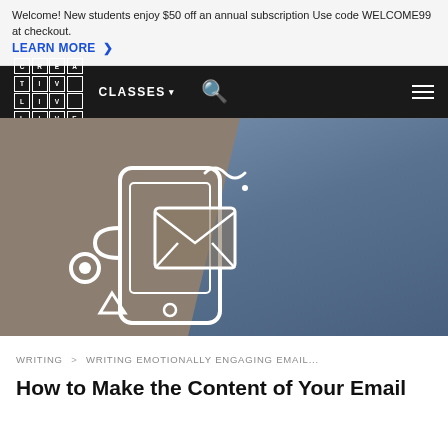Welcome! New students enjoy $50 off an annual subscription Use code WELCOME99 at checkout. LEARN MORE
[Figure (screenshot): CreativeLive website navigation bar with logo, CLASSES menu, search icon, and hamburger menu on black background]
[Figure (illustration): Hero banner showing phone with email envelope illustration on brownish background with a woman's portrait on the right side in blue tones]
WRITING > WRITING EMOTIONALLY ENGAGING EMAIL...
How to Make the Content of Your Email Direction